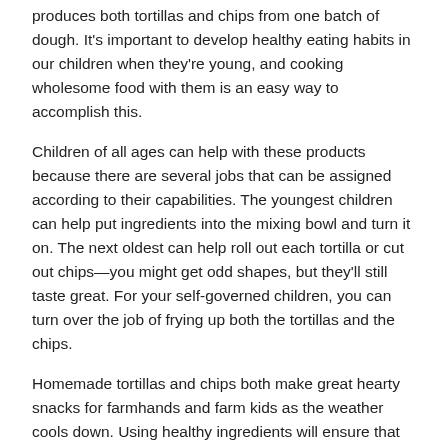produces both tortillas and chips from one batch of dough. It's important to develop healthy eating habits in our children when they're young, and cooking wholesome food with them is an easy way to accomplish this.
Children of all ages can help with these products because there are several jobs that can be assigned according to their capabilities. The youngest children can help put ingredients into the mixing bowl and turn it on. The next oldest can help roll out each tortilla or cut out chips—you might get odd shapes, but they'll still taste great. For your self-governed children, you can turn over the job of frying up both the tortillas and the chips.
Homemade tortillas and chips both make great hearty snacks for farmhands and farm kids as the weather cools down. Using healthy ingredients will ensure that your family is eating nutrient dense food that will keep them going as they finish bringing in the harvest and preparing for winter on the farm.
Trending Articles